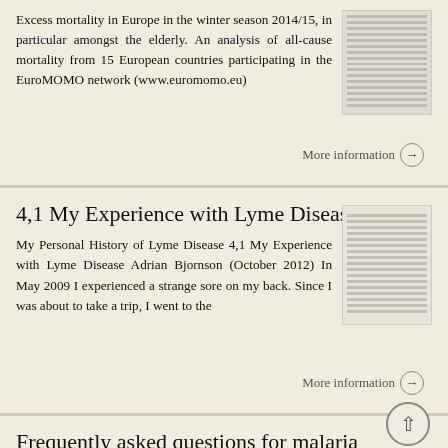Excess mortality in Europe in the winter season 2014/15, in particular amongst the elderly. An analysis of all-cause mortality from 15 European countries participating in the EuroMOMO network (www.euromomo.eu)
More information →
4,1 My Experience with Lyme Disease
My Personal History of Lyme Disease 4,1 My Experience with Lyme Disease Adrian Bjornson (October 2012) In May 2009 I experienced a strange sore on my back. Since I was about to take a trip, I went to the
More information →
Frequently asked questions for malaria
Frequently asked questions for malaria 1. What is malaria? Malaria is an infectious